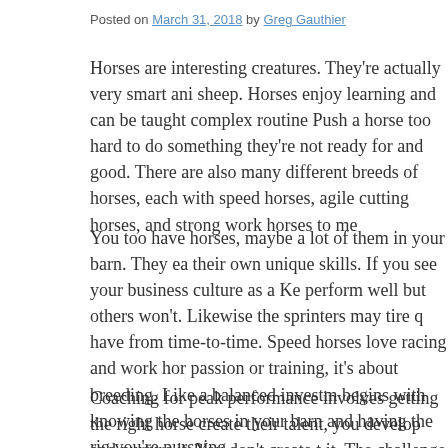Posted on March 31, 2018 by Greg Gauthier
Horses are interesting creatures. They’re actually very smart ani… sheep. Horses enjoy learning and can be taught complex routine… Push a horse too hard to do something they’re not ready for and… good. There are also many different breeds of horses, each with… speed horses, agile cutting horses, and strong work horses to me…
You too have horses, maybe a lot of them in your barn. They ea… their own unique skills. If you see your business culture as a Ke… perform well but others won’t. Likewise the sprinters may tire q… have from time-to-time. Speed horses love racing and work hor… passion or training, it’s about breeding. Like a balanced investm… begins with knowing the horses in your barn and having the rig… you’re pursuing.
Coaching for peak performance involves getting the right horse… create their talent, you develop and nurture it. You don’t create t… it. The challenge then is figuring out what type of horse you’re v…